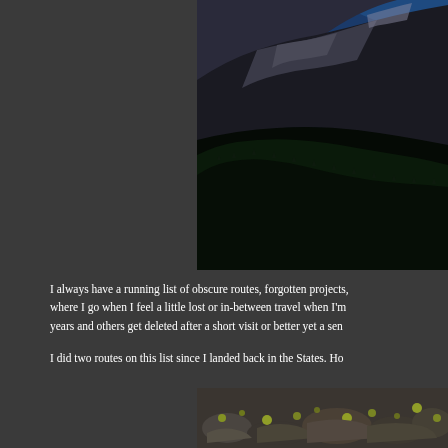[Figure (photo): Aerial or elevated view of a mountain landscape with dark rocky peaks, a valley filled with evergreen trees, and deep shadows. Blue sky visible at top right.]
I always have a running list of obscure routes, forgotten projects, where I go when I feel a little lost or in-between travel when I'm years and others get deleted after a short visit or better yet a sen
I did two routes on this list since I landed back in the States. Ho
[Figure (photo): Close-up of rocky terrain with small yellow-green plants or lichen growing between rocks.]